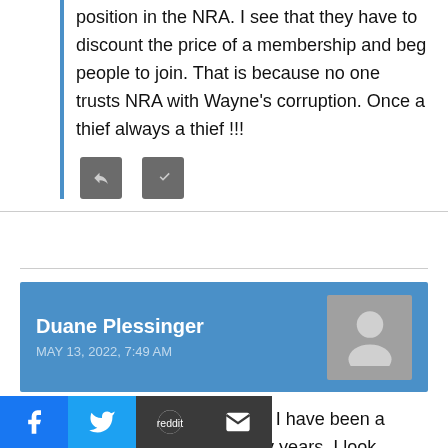position in the NRA. I see that they have to discount the price of a membership and beg people to join. That is because no one trusts NRA with Wayne's corruption. Once a thief always a thief !!!
[Figure (other): Two small dark grey action/reaction buttons]
Duane Plessinger
MAY 13, 2022, 7:49 AM
[Figure (other): User avatar placeholder silhouette on blue background]
I strongly support Lt. Col. West. I have been a strong supporter of his for many years. I look
[Figure (other): Social share bar with Facebook, Twitter, Reddit, and Email buttons]